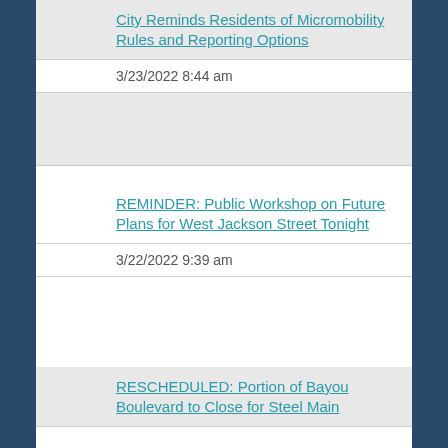City Reminds Residents of Micromobility Rules and Reporting Options
3/23/2022 8:44 am
[Figure (photo): News item image placeholder]
REMINDER: Public Workshop on Future Plans for West Jackson Street Tonight
3/22/2022 9:39 am
[Figure (photo): News item image placeholder]
RESCHEDULED: Portion of Bayou Boulevard to Close for Steel Main